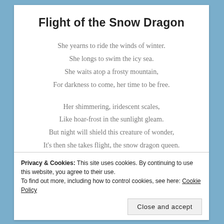Flight of the Snow Dragon
She yearns to ride the winds of winter.
She longs to swim the icy sea.
She waits atop a frosty mountain,
For darkness to come, her time to be free.
Her shimmering, iridescent scales,
Like hoar-frost in the sunlight gleam.
But night will shield this creature of wonder,
It's then she takes flight, the snow dragon queen.
Privacy & Cookies: This site uses cookies. By continuing to use this website, you agree to their use.
To find out more, including how to control cookies, see here: Cookie Policy